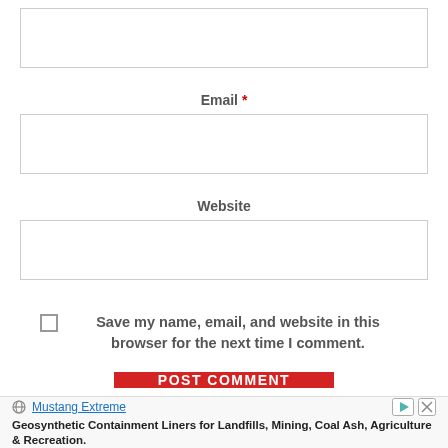[Figure (screenshot): Empty text input field (Name or other field)]
Email *
[Figure (screenshot): Empty text input field for Email]
Website
[Figure (screenshot): Empty text input field for Website]
Save my name, email, and website in this browser for the next time I comment.
POST COMMENT
Mustang Extreme
Geosynthetic Containment Liners for Landfills, Mining, Coal Ash, Agriculture & Recreation.